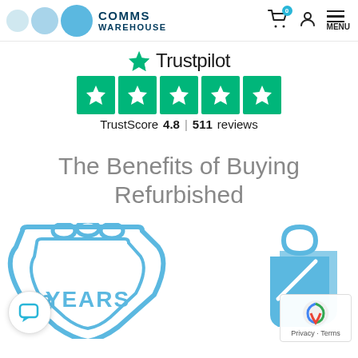[Figure (logo): Comms Warehouse logo with three circles (light blue, medium blue, dark blue) and text COMMS WAREHOUSE]
[Figure (infographic): Trustpilot rating section showing star logo, 5 green star boxes, TrustScore 4.8 and 511 reviews]
The Benefits of Buying Refurbished
[Figure (illustration): Blue outline illustration of a warranty/shield badge with '2 YEARS' text and a price tag icon on the right side]